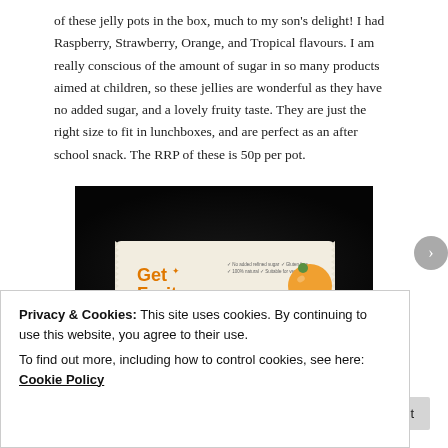of these jelly pots in the box, much to my son's delight! I had Raspberry, Strawberry, Orange, and Tropical flavours. I am really conscious of the amount of sugar in so many products aimed at children, so these jellies are wonderful as they have no added sugar, and a lovely fruity taste. They are just the right size to fit in lunchboxes, and are perfect as an after school snack. The RRP of these is 50p per pot.
[Figure (photo): A Get Fruity branded snack packet photographed against a dark/black background. The packet is white/cream coloured with orange branding text reading 'Get Fruity' and a fruit illustration on the right side.]
Privacy & Cookies: This site uses cookies. By continuing to use this website, you agree to their use.
To find out more, including how to control cookies, see here: Cookie Policy